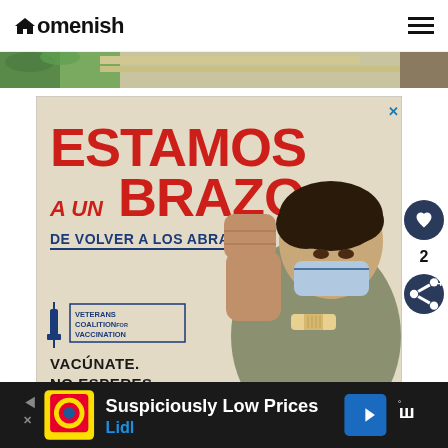Homenish
[Figure (photo): Horizontal banner strip showing outdoor scene with green foliage on left and light tan/gray horizontal surface]
[Figure (infographic): Advertisement for Veterans Coalition for Vaccination. Red text reads 'ESTAMOS A UN BRAZO DE VOLVER A LOS ABRAZOS'. Shows woman in mask flexing arm with bandage. Text: VETERANS COALITION FOR VACCINATION, VACÚNATE. NO ESPERES.]
[Figure (infographic): Bottom banner advertisement for Lidl: 'Suspiciously Low Prices' with Lidl logo and navigation arrow icon]